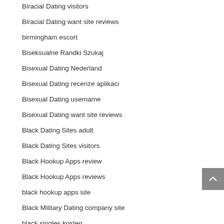Biracial Dating visitors
Biracial Dating want site reviews
birmingham escort
Biseksualne Randki Szukaj
Bisexual Dating Nederland
Bisexual Dating recenze aplikaci
Bisexual Dating username
Bisexual Dating want site reviews
Black Dating Sites adult
Black Dating Sites visitors
Black Hookup Apps review
Black Hookup Apps reviews
black hookup apps site
Black Military Dating company site
black singles kosten